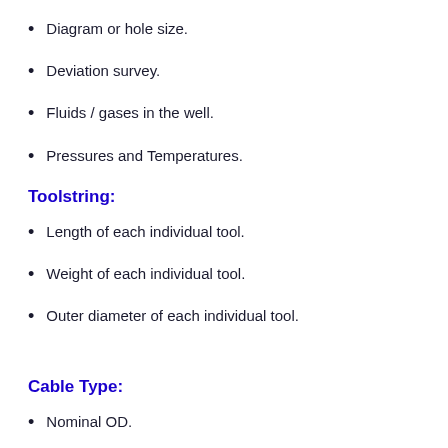Diagram or hole size.
Deviation survey.
Fluids / gases in the well.
Pressures and Temperatures.
Toolstring:
Length of each individual tool.
Weight of each individual tool.
Outer diameter of each individual tool.
Cable Type:
Nominal OD.
Weight in air.